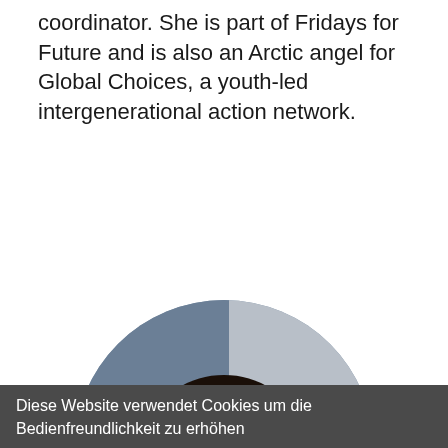coordinator. She is part of Fridays for Future and is also an Arctic angel for Global Choices, a youth-led intergenerational action network.
Zurück
[Figure (photo): Portrait photo of a young woman with dreadlocks and a pink bow hair accessory, smiling, shown in a circular crop against a blue-grey background]
Diese Website verwendet Cookies um die Bedienfreundlichkeit zu erhöhen